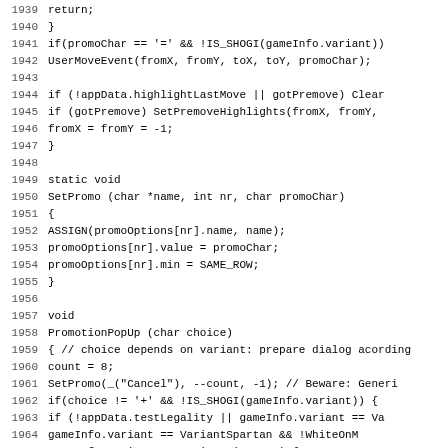[Figure (screenshot): Source code listing in monospace font showing C/C++ code lines 1939-1971 with line numbers on the left, including functions SetPromo and PromotionPopUp]